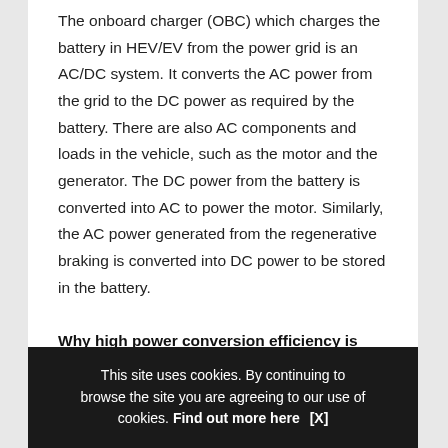The onboard charger (OBC) which charges the battery in HEV/EV from the power grid is an AC/DC system. It converts the AC power from the grid to the DC power as required by the battery. There are also AC components and loads in the vehicle, such as the motor and the generator. The DC power from the battery is converted into AC to power the motor. Similarly, the AC power generated from the regenerative braking is converted into DC power to be stored in the battery.
Why high power conversion efficiency is important
Power conversion efficiency assesses how well the conversion of one form of energy to another is implemented by dividing...
This site uses cookies. By continuing to browse the site you are agreeing to our use of cookies. Find out more here   [X]